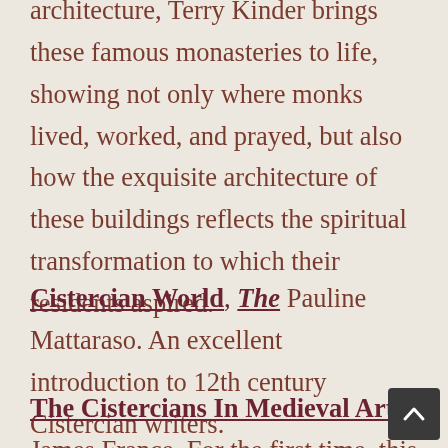architecture, Terry Kinder brings these famous monasteries to life, showing not only where monks lived, worked, and prayed, but also how the exquisite architecture of these buildings reflects the spiritual transformation to which their residents aspired.
Cistercian World, The Pauline Mattaraso. An excellent introduction to 12th century Cistercian writers.
The Cistercians In Medieval Art James France. For the first time, this